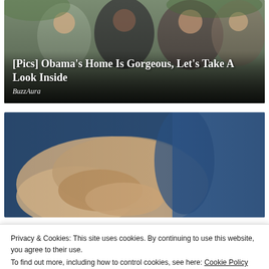[Figure (photo): Group of people outdoors with trees in background, image overlay with article title on dark gradient]
[Pics] Obama's Home Is Gorgeous, Let's Take A Look Inside
BuzzAura
[Figure (photo): Close-up photo of hands squeezing or pinching skin/fat on a person wearing blue clothing]
Privacy & Cookies: This site uses cookies. By continuing to use this website, you agree to their use.
To find out more, including how to control cookies, see here: Cookie Policy
Close and accept
Hepatitis C: Take A Look at Si...